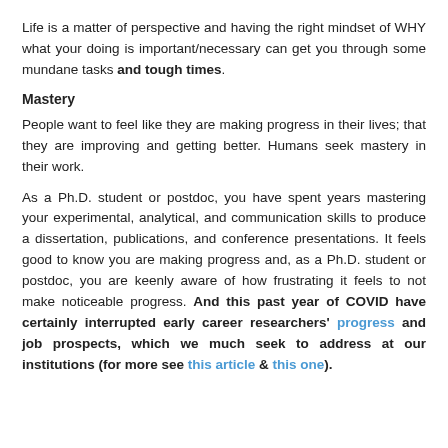Life is a matter of perspective and having the right mindset of WHY what your doing is important/necessary can get you through some mundane tasks and tough times.
Mastery
People want to feel like they are making progress in their lives; that they are improving and getting better. Humans seek mastery in their work.
As a Ph.D. student or postdoc, you have spent years mastering your experimental, analytical, and communication skills to produce a dissertation, publications, and conference presentations. It feels good to know you are making progress and, as a Ph.D. student or postdoc, you are keenly aware of how frustrating it feels to not make noticeable progress. And this past year of COVID have certainly interrupted early career researchers' progress and job prospects, which we much seek to address at our institutions (for more see this article & this one).